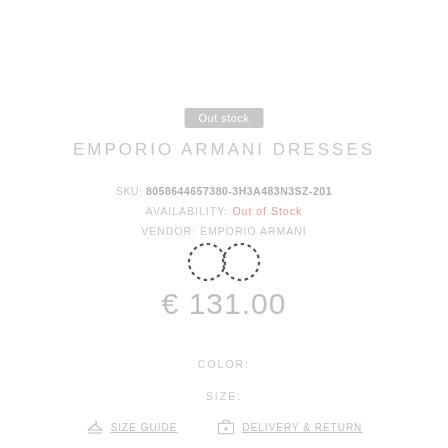Out stock
EMPORIO ARMANI DRESSES
SKU: 8058644657380-3H3A483N3SZ-201
AVAILABILITY: Out of Stock
VENDOR: EMPORIO ARMANI
[Figure (other): Dotted infinity symbol/loading spinner]
€ 131.00
COLOR:
SIZE:
SIZE GUIDE
DELIVERY & RETURN